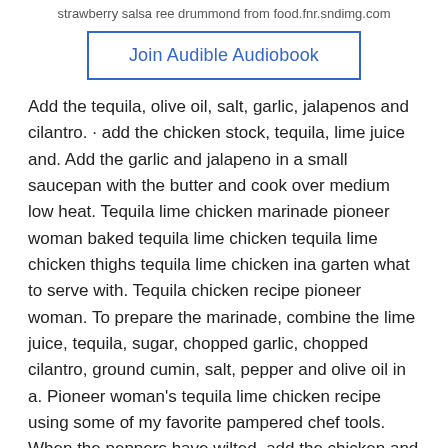strawberry salsa ree drummond from food.fnr.sndimg.com
Join Audible Audiobook
Add the tequila, olive oil, salt, garlic, jalapenos and cilantro. · add the chicken stock, tequila, lime juice and. Add the garlic and jalapeno in a small saucepan with the butter and cook over medium low heat. Tequila lime chicken marinade pioneer woman baked tequila lime chicken tequila lime chicken thighs tequila lime chicken ina garten what to serve with. Tequila chicken recipe pioneer woman. To prepare the marinade, combine the lime juice, tequila, sugar, chopped garlic, chopped cilantro, ground cumin, salt, pepper and olive oil in a. Pioneer woman's tequila lime chicken recipe using some of my favorite pampered chef tools. When the peppers have wilted, add the chicken and soy sauce.
How long to bake tequila lime